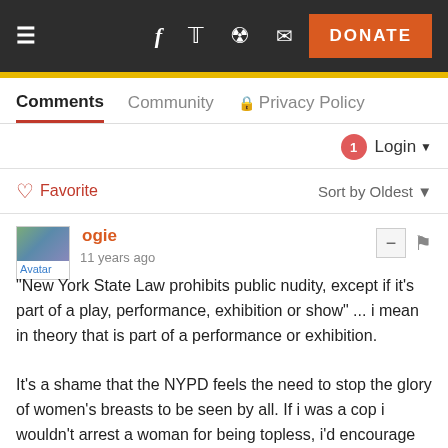≡  f  🐦  👽  ✉  DONATE
Comments   Community   🔒 Privacy Policy
1  Login ▼
♡ Favorite   Sort by Oldest ▼
ogie  11 years ago
"New York State Law prohibits public nudity, except if it's part of a play, performance, exhibition or show" ... i mean in theory that is part of a performance or exhibition.

It's a shame that the NYPD feels the need to stop the glory of women's breasts to be seen by all. If i was a cop i wouldn't arrest a woman for being topless, i'd encourage more women around them to take their tops off as well.